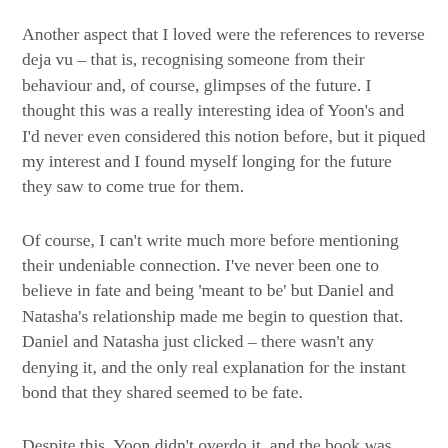Another aspect that I loved were the references to reverse deja vu – that is, recognising someone from their behaviour and, of course, glimpses of the future. I thought this was a really interesting idea of Yoon's and I'd never even considered this notion before, but it piqued my interest and I found myself longing for the future they saw to come true for them.
Of course, I can't write much more before mentioning their undeniable connection. I've never been one to believe in fate and being 'meant to be' but Daniel and Natasha's relationship made me begin to question that. Daniel and Natasha just clicked – there wasn't any denying it, and the only real explanation for the instant bond that they shared seemed to be fate.
Despite this, Yoon didn't overdo it, and the book was anything but cheesy. Daniel and Natasha's relationship was written beautifully, and the story between them felt really real and natural, despite the